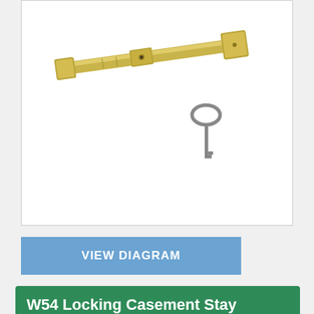[Figure (photo): Photo of a W54 Locking Casement Stay in polished brass finish, shown with a small key accessory, on a white background.]
VIEW DIAGRAM
W54 Locking Casement Stay
From
£11.36 Inc. Vat
★★★★★ (1) | Add Your Review